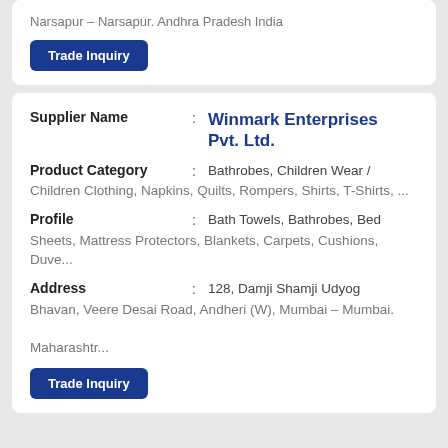Narsapur – Narsapur. Andhra Pradesh India
Trade Inquiry
Supplier Name : Winmark Enterprises Pvt. Ltd.
Product Category : Bathrobes, Children Wear / Children Clothing, Napkins, Quilts, Rompers, Shirts, T-Shirts, ...
Profile : Bath Towels, Bathrobes, Bed Sheets, Mattress Protectors, Blankets, Carpets, Cushions, Duve...
Address : 128, Damji Shamji Udyog Bhavan, Veere Desai Road, Andheri (W), Mumbai – Mumbai. Maharashtr...
Trade Inquiry